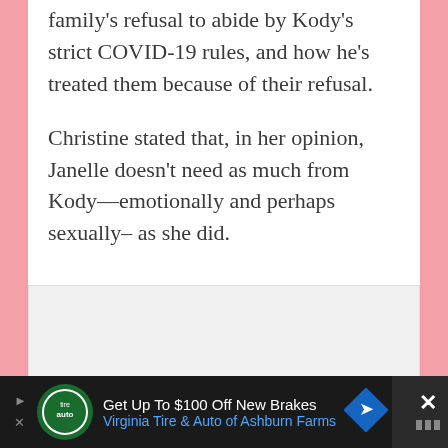family's refusal to abide by Kody's strict COVID-19 rules, and how he's treated them because of their refusal.
Christine stated that, in her opinion, Janelle doesn't need as much from Kody—emotionally and perhaps sexually– as she did.
[Figure (other): Gray placeholder advertisement box]
[Figure (screenshot): Advertisement bar at bottom: 'Get Up To $100 Off New Brakes' Virginia Tire & Auto of Ashburn Farms, with green tire auto logo, blue diamond arrow icon, and close X button]